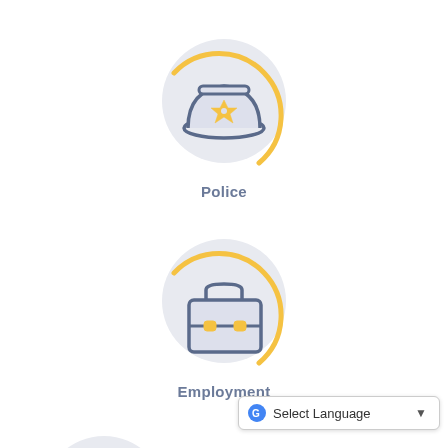[Figure (illustration): Police officer cap icon inside a light gray circle with a gold/yellow arc around it]
Police
[Figure (illustration): Briefcase/employment bag icon inside a light gray circle with a gold/yellow arc around it]
Employment
[Figure (illustration): Calendar with clock icon inside a light gray circle with a gold/yellow arc around it, partially visible at bottom]
Select Language